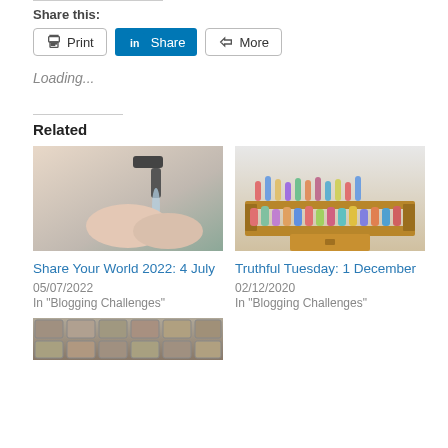Share this:
[Figure (other): Share buttons: Print, LinkedIn Share, More]
Loading...
Related
[Figure (photo): Hands under a running water tap - related post image]
Share Your World 2022: 4 July
05/07/2022
In "Blogging Challenges"
[Figure (photo): Shelf with many decorative figurines and dolls - related post image]
Truthful Tuesday: 1 December
02/12/2020
In "Blogging Challenges"
[Figure (photo): Close up of cobblestone pavers - partial related post image at bottom]